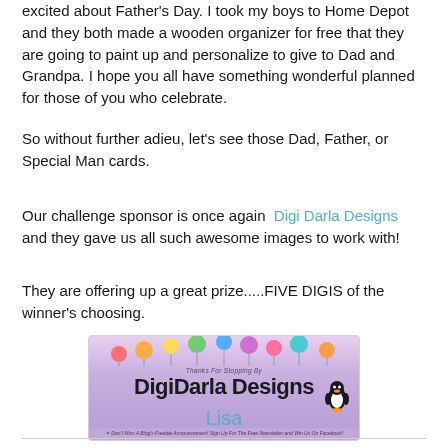excited about Father's Day. I took my boys to Home Depot and they both made a wooden organizer for free that they are going to paint up and personalize to give to Dad and Grandpa. I hope you all have something wonderful planned for those of you who celebrate.
So without further adieu, let's see those Dad, Father, or Special Man cards.
Our challenge sponsor is once again  Digi Darla Designs and they gave us all such awesome images to work with!
They are offering up a great prize.....FIVE DIGIS of the winner's choosing.
[Figure (logo): DigiDarla Designs logo banner with colorful balloons on purple/lavender background, penguin mascot, text 'Thanks For Stopping By DigiDarla Designs' with tagline about free newsletter]
Lisa